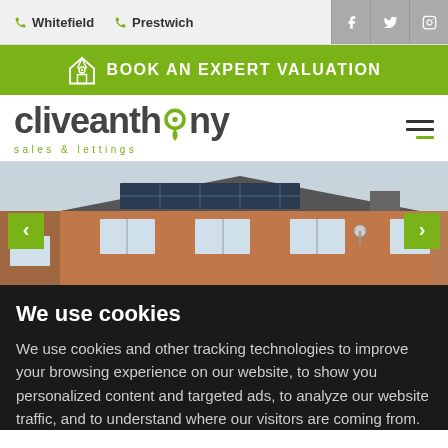Whitefield  Prestwich
BOOK AN EXPERT VALUATION
[Figure (logo): Clive Anthony sales & lettings logo with green location pin replacing the 'o' in anthony]
[Figure (photo): Photo of a red brick bungalow with solar panels on the roof, navigation arrows on left and right]
We use cookies
We use cookies and other tracking technologies to improve your browsing experience on our website, to show you personalized content and targeted ads, to analyze our website traffic, and to understand where our visitors are coming from.